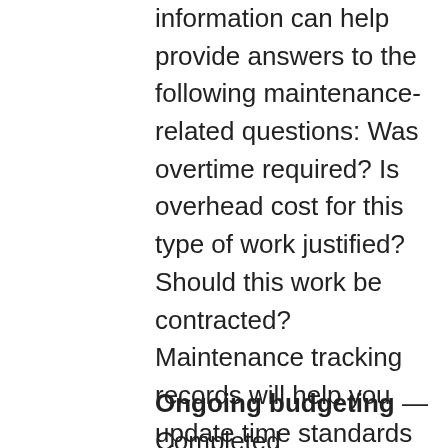information can help provide answers to the following maintenance-related questions: Was overtime required? Is overhead cost for this type of work justified?  Should this work be contracted? Maintenance tracking records will help you update time standards on your Task Description Cards and will help you make adjustments to your annual Maintenance Schedule to make it more efficient.
Ongoing budgeting — Completed Maintenance Tracking Tools...